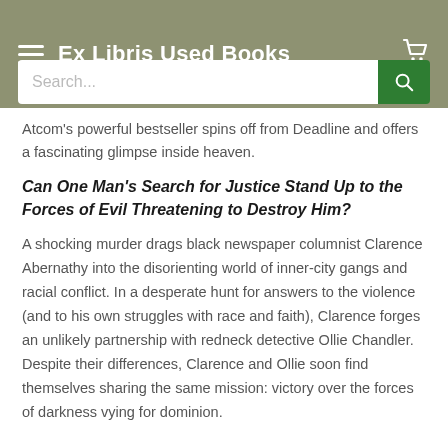Ex Libris Used Books
Atcom's powerful bestseller spins off from Deadline and offers a fascinating glimpse inside heaven.
Can One Man's Search for Justice Stand Up to the Forces of Evil Threatening to Destroy Him?
A shocking murder drags black newspaper columnist Clarence Abernathy into the disorienting world of inner-city gangs and racial conflict. In a desperate hunt for answers to the violence (and to his own struggles with race and faith), Clarence forges an unlikely partnership with redneck detective Ollie Chandler. Despite their differences, Clarence and Ollie soon find themselves sharing the same mission: victory over the forces of darkness vying for dominion.